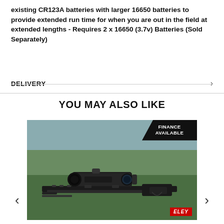existing CR123A batteries with larger 16650 batteries to provide extended run time for when you are out in the field at extended lengths - Requires 2 x 16650 (3.7v) Batteries (Sold Separately)
DELIVERY
YOU MAY ALSO LIKE
[Figure (photo): A night vision rifle scope (monocular thermal/digital scope) mounted on a rifle with a PCP air rifle stock, outdoors on grass background. A 'FINANCE AVAILABLE' badge is in the top-right corner. An 'ELEY' red badge is in the bottom-right corner.]